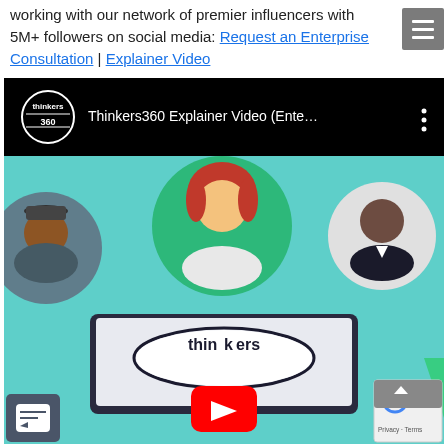working with our network of premier influencers with 5M+ followers on social media: Request an Enterprise Consultation | Explainer Video
[Figure (screenshot): YouTube embedded video player showing Thinkers360 Explainer Video (Ente...) with Thinkers360 logo on left and three dots menu. Below is a thumbnail with illustrated cartoon avatars on a teal background, a laptop/monitor showing the Thinkers360 oval logo, and a red YouTube play button in the center.]